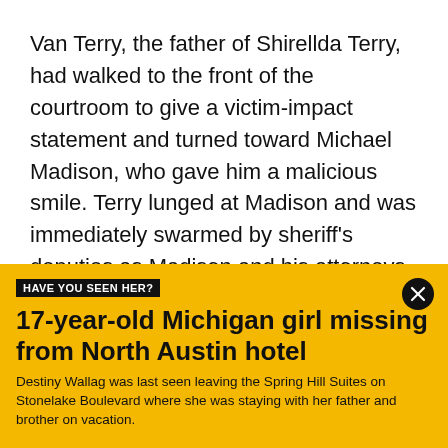Van Terry, the father of Shirellda Terry, had walked to the front of the courtroom to give a victim-impact statement and turned toward Michael Madison, who gave him a malicious smile. Terry lunged at Madison and was immediately swarmed by sheriff's deputies as Madison and his attorneys scrambled to get out of the way.
Law enforcement officers dragged Terry out of the courtroom and ushered him out of the courthouse. A
[Figure (infographic): Yellow advertisement banner with black 'HAVE YOU SEEN HER?' tag, headline '17-year-old Michigan girl missing from North Austin hotel', body text about Destiny Wallag, and a close button.]